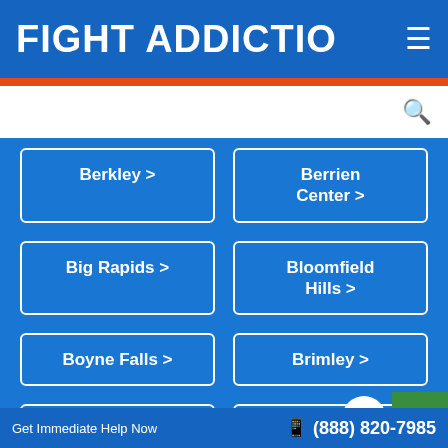FIGHT ADDICTIO ≡
Berkley >
Berrien Center >
Big Rapids >
Bloomfield Hills >
Boyne Falls >
Brimley >
Calumet >
Caro >
Get Immediate Help Now   (888) 820-7985